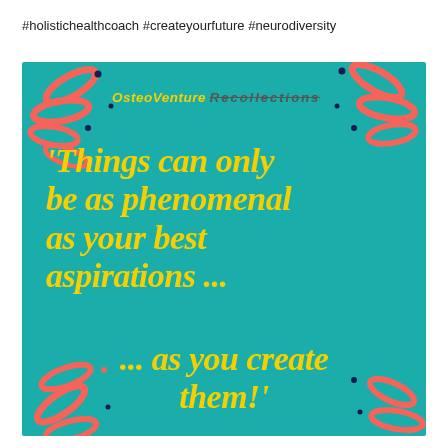#holistichealthcoach #createyourfuture #neurodiversity
[Figure (infographic): Teal/turquoise background motivational quote card with red coral ribbon/streamer decorations in corners, yellow bold italic text reading: 'Things can only be as phenomenal as your best aspirations ... ... as you create them!' and brand name 'OsteoVenture Recollections' at top with dot decorations.]